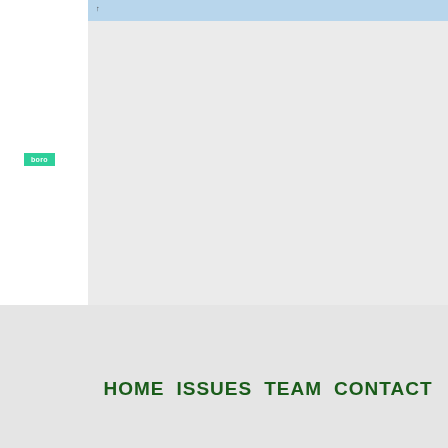[Figure (screenshot): Website screenshot showing top navigation bar with light blue header strip and white left sidebar panel with a teal/green 'boro' button]
HOME  ISSUES  TEAM  CONTACT
[Figure (logo): Small logo image with figure/person graphic and text below, positioned in white left sidebar]
Brazilian Pinheiro wins